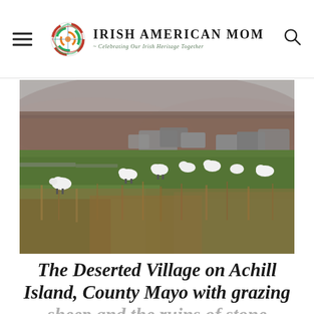Irish American Mom - Celebrating Our Irish Heritage Together
[Figure (photo): Landscape photo of the Deserted Village on Achill Island, County Mayo, showing grazing sheep on green pastures with ruins of stone buildings in the background and a misty hillside behind.]
The Deserted Village on Achill Island, County Mayo with grazing sheep and the ruins of stone